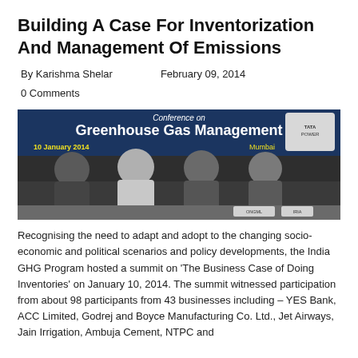Building A Case For Inventorization And Management Of Emissions
By Karishma Shelar    February 09, 2014
0 Comments
[Figure (photo): Panel of four men seated at a conference table at the Conference on Greenhouse Gas Management, 10 January 2014, Mumbai]
Recognising the need to adapt and adopt to the changing socio-economic and political scenarios and policy developments, the India GHG Program hosted a summit on 'The Business Case of Doing Inventories' on January 10, 2014. The summit witnessed participation from about 98 participants from 43 businesses including – YES Bank, ACC Limited, Godrej and Boyce Manufacturing Co. Ltd., Jet Airways, Jain Irrigation, Ambuja Cement, NTPC and